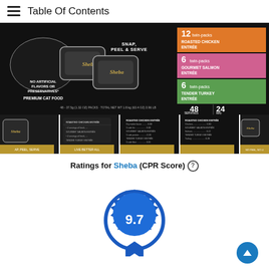Table Of Contents
[Figure (photo): Sheba cat food product box on dark background. Shows twin-pack trays with 'Snap, Peel & Serve' instructions. Text: 'No Artificial Flavors or Preservatives*', 'Premium Cat Food', '48 - 37.5g (1.32 OZ) Packs - Total Net Wt 1.8 kg (63.4 OZ) 3.96 LB'. Right side shows: 12 twin-packs Roasted Chicken Entrée, 6 twin-packs Gourmet Salmon Entrée, 6 twin-packs Tender Turkey Entrée. 48 Servings | 24 twin-packs.]
[Figure (photo): Strip of 5 product thumbnail images showing the Sheba cat food box from various angles including front, back, nutrition label, and ingredient list.]
Ratings for Sheba (CPR Score) ℹ
[Figure (other): Blue badge/seal graphic with score 9.7 displayed in the center.]